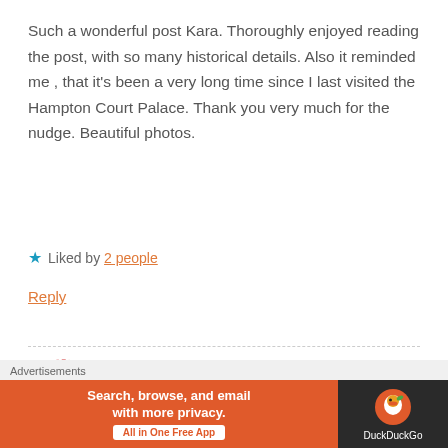Such a wonderful post Kara. Thoroughly enjoyed reading the post, with so many historical details. Also it reminded me , that it's been a very long time since I last visited the Hampton Court Palace. Thank you very much for the nudge. Beautiful photos.
★ Liked by 2 people
Reply
peacoattravels
MAY 11, 2019 AT 2:25 PM
Advertisements
Search, browse, and email with more privacy. All in One Free App — DuckDuckGo